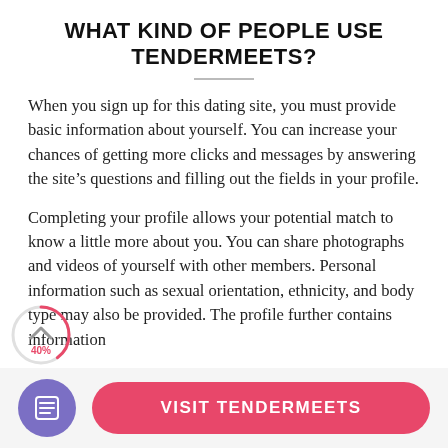WHAT KIND OF PEOPLE USE TENDERMEETS?
When you sign up for this dating site, you must provide basic information about yourself. You can increase your chances of getting more clicks and messages by answering the site’s questions and filling out the fields in your profile.
Completing your profile allows your potential match to know a little more about you. You can share photographs and videos of yourself with other members. Personal information such as sexual orientation, ethnicity, and body type may also be provided. The profile further contains information